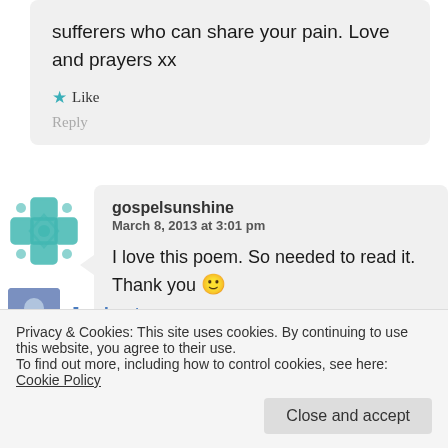sufferers who can share your pain. Love and prayers xx
Like
Reply
gospelsunshine
March 8, 2013 at 3:01 pm
I love this poem. So needed to read it. Thank you 🙂
Like
Privacy & Cookies: This site uses cookies. By continuing to use this website, you agree to their use.
To find out more, including how to control cookies, see here: Cookie Policy
Close and accept
Joy Lenton